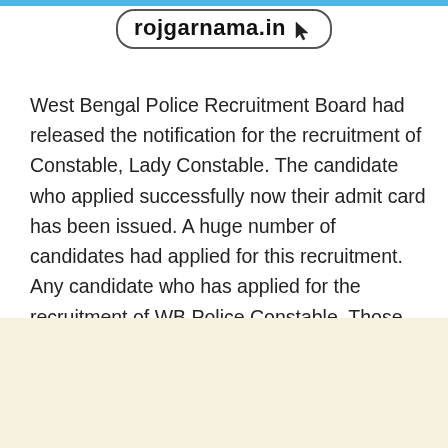rojgarnama.in
West Bengal Police Recruitment Board had released the notification for the recruitment of Constable, Lady Constable. The candidate who applied successfully now their admit card has been issued. A huge number of candidates had applied for this recruitment. Any candidate who has applied for the recruitment of WB Police Constable. Those candidates can download its admit card from its official website wbpolice.gov.in.